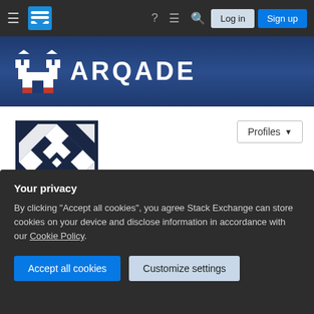Arqade – navigation bar with Log in and Sign up buttons
[Figure (logo): Arqade (Stack Exchange gaming site) logo banner with white castle icon and ARQADE text on dark blue background]
[Figure (photo): User avatar: geometric blue and white diamond/square pattern on dark navy background]
Profiles ▾
Falcon165o
Member for 10 years, 2 months   Last seen more than 2 years ago
twitter.com/falcon165o   Pennsylvania
Your privacy
By clicking "Accept all cookies", you agree Stack Exchange can store cookies on your device and disclose information in accordance with our Cookie Policy.
Accept all cookies   Customize settings